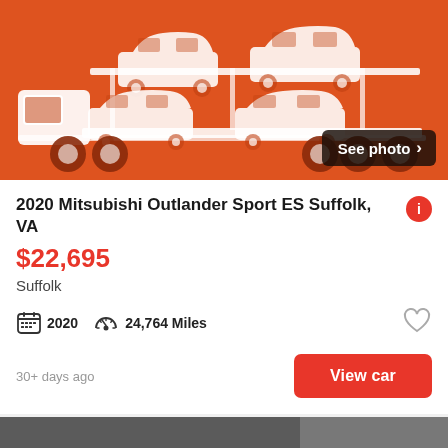[Figure (illustration): Orange background illustration of a car transport truck carrying multiple white car silhouettes]
2020 Mitsubishi Outlander Sport ES Suffolk, VA
$22,695
Suffolk
2020   24,764 Miles
30+ days ago
View car
[Figure (photo): Photo of a dark gray car (side/front view) in a parking area]